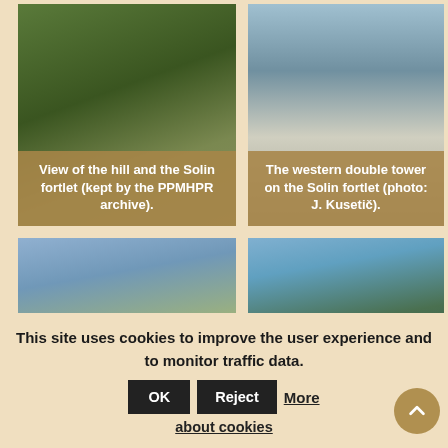[Figure (photo): Aerial/landscape view of a hill with the Solin fortlet, green hillside terrain]
View of the hill and the Solin fortlet (kept by the PPMHPR archive).
[Figure (photo): Western double tower on the Solin fortlet, rocky ruins with pine trees and sky]
The western double tower on the Solin fortlet (photo: J. Kusetič).
[Figure (photo): View of fortlet ruins with bare trees in winter/spring setting]
[Figure (photo): Tall pine trees against blue sky, exterior of Solin fortlet area]
This site uses cookies to improve the user experience and to monitor traffic data.
OK  Reject  More about cookies